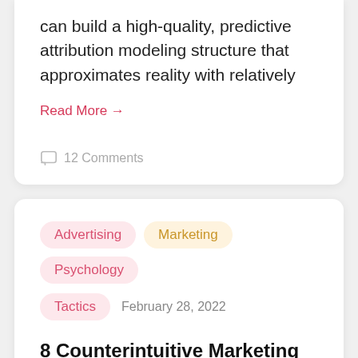can build a high-quality, predictive attribution modeling structure that approximates reality with relatively
Read More →
12 Comments
Advertising  Marketing  Psychology  Tactics  February 28, 2022
8 Counterintuitive Marketing Strategies That Actually Work